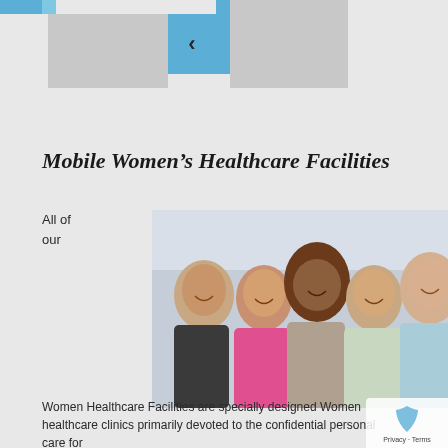[Figure (screenshot): Top navigation/slider area with blue tiles and gray image placeholder boxes, with a left-arrow button in blue]
Mobile Women's Healthcare Facilities
All of our
[Figure (photo): Five diverse women smiling and posing together outdoors, wearing athletic/casual clothing in various colors including dark, pink, white, green, and light blue]
Women Healthcare Facilities are specially designed Women healthcare clinics primarily devoted to the confidential personal care for